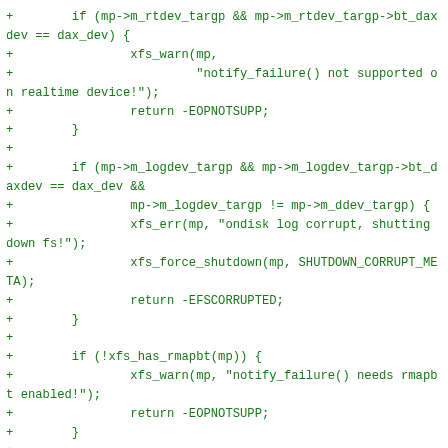[Figure (screenshot): Source code diff showing C code additions (green, prefixed with +) for XFS filesystem notify_failure logic including checks for rtdev, logdev, rmapbt, and transaction allocation.]